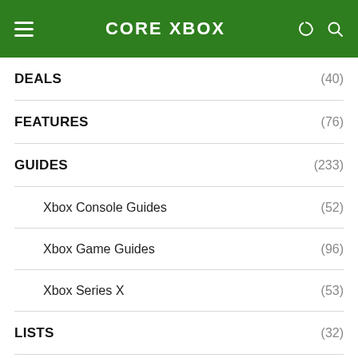CORE XBOX
DEALS (40)
FEATURES (76)
GUIDES (233)
Xbox Console Guides (52)
Xbox Game Guides (96)
Xbox Series X (53)
LISTS (32)
RELEASE DATES (134)
REVIEWS (60)
XBOX GAME PASS (26)